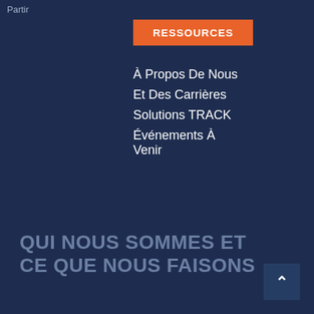Partir
RESSOURCES
À Propos De Nous
Et Des Carrières
Solutions TRACK
Événements À Venir
QUI NOUS SOMMES ET CE QUE NOUS FAISONS